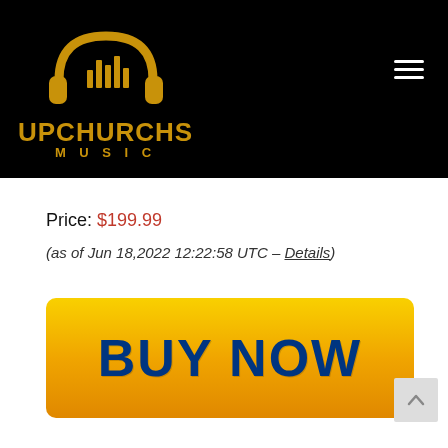[Figure (logo): Upchurchs Music logo — gold headphones with bar chart equalizer bars inside, above the text UPCHURCHS MUSIC in gold on a black background]
Price: $199.99
(as of Jun 18,2022 12:22:58 UTC – Details)
[Figure (other): Large yellow-to-orange gradient BUY NOW button with dark blue bold text]